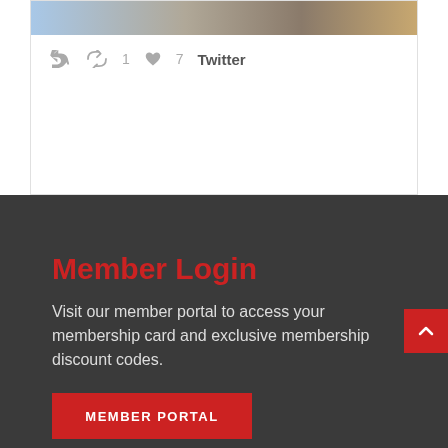[Figure (screenshot): Top portion of a tweet card showing a photo of two people, with reply, retweet (1), and like (7) counts, and a Twitter label]
Member Login
Visit our member portal to access your membership card and exclusive membership discount codes.
MEMBER PORTAL